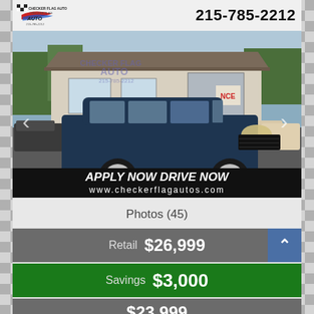[Figure (logo): Checker Flag Auto logo with checkered flag and swoosh]
215-785-2212
[Figure (photo): Dark blue Ford Explorer SUV parked in dealership lot in front of Checker Flag Auto building]
APPLY NOW DRIVE NOW
www.checkerflagautos.com
Photos (45)
Retail  $26,999
Savings  $3,000
$23,999